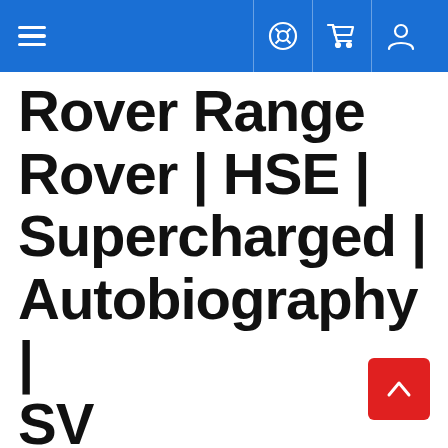Navigation header with hamburger menu, help icon, cart icon, and user icon
Rover Range Rover | HSE | Supercharged | Autobiography | SV Autobiography Dynamic – Precut Paint